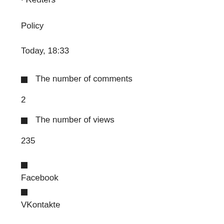· Reuters
Policy
Today, 18:33
The number of comments
2
The number of views
235
Facebook
VKontakte
Google+